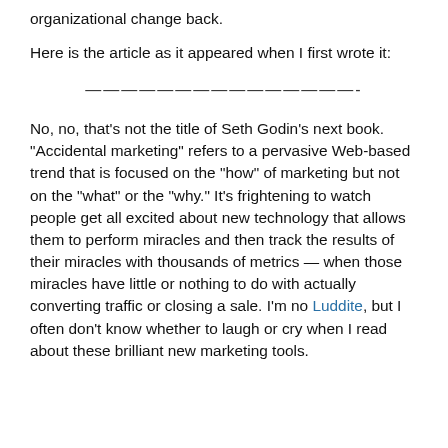organizational change back.
Here is the article as it appeared when I first wrote it:
———————————————-
No, no, that's not the title of Seth Godin's next book. "Accidental marketing" refers to a pervasive Web-based trend that is focused on the "how" of marketing but not on the "what" or the "why." It's frightening to watch people get all excited about new technology that allows them to perform miracles and then track the results of their miracles with thousands of metrics — when those miracles have little or nothing to do with actually converting traffic or closing a sale. I'm no Luddite, but I often don't know whether to laugh or cry when I read about these brilliant new marketing tools.